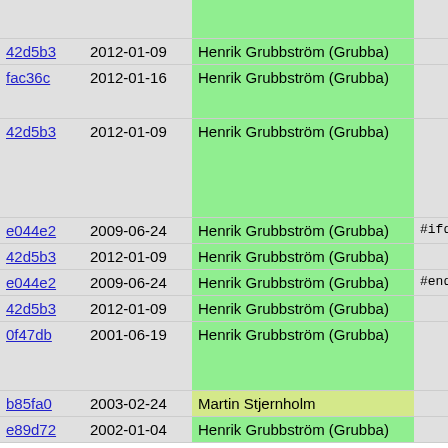| Hash | Date | Author | Code |
| --- | --- | --- | --- |
| 42d5b3 | 2012-01-09 | Henrik Grubbström (Grubba) | */ |
| fac36c | 2012-01-16 | Henrik Grubbström (Grubba) | SET_
add_ |
| 42d5b3 | 2012-01-09 | Henrik Grubbström (Grubba) | } else
SET_

add_
func |
| e044e2 | 2009-06-24 | Henrik Grubbström (Grubba) | #ifdef PIKE_ |
| 42d5b3 | 2012-01-09 | Henrik Grubbström (Grubba) | add_ |
| e044e2 | 2009-06-24 | Henrik Grubbström (Grubba) | #endif |
| 42d5b3 | 2012-01-09 | Henrik Grubbström (Grubba) | } |
| 0f47db | 2001-06-19 | Henrik Grubbström (Grubba) | }

if (f->
  INT32 |
| b85fa0 | 2003-02-24 | Martin Stjernholm |  |
| e89d72 | 2002-01-04 | Henrik Grubbström (Grubba) | INT32 |